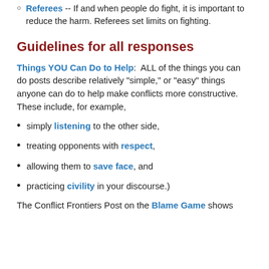Referees -- If and when people do fight, it is important to reduce the harm. Referees set limits on fighting.
Guidelines for all responses
Things YOU Can Do to Help:  ALL of the things you can do posts describe relatively "simple," or "easy" things anyone can do to help make conflicts more constructive.  These include, for example,
simply listening to the other side,
treating opponents with respect,
allowing them to save face, and
practicing civility in your discourse.)
The Conflict Frontiers Post on the Blame Game shows